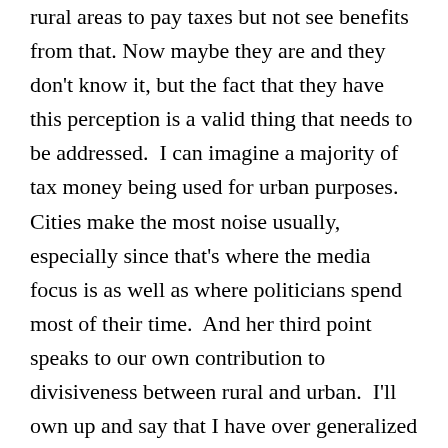rural areas to pay taxes but not see benefits from that. Now maybe they are and they don't know it, but the fact that they have this perception is a valid thing that needs to be addressed.  I can imagine a majority of tax money being used for urban purposes.  Cities make the most noise usually, especially since that's where the media focus is as well as where politicians spend most of their time.  And her third point speaks to our own contribution to divisiveness between rural and urban.  I'll own up and say that I have over generalized in that manner and it was wrong.  And even if they are racist, they are still human.  Why do they have that attitude?  Is it just ignorance?  Is it that they have been fed false information?  Is it anecdotal experience that was taken as truth instead of an exception?  We all know we can